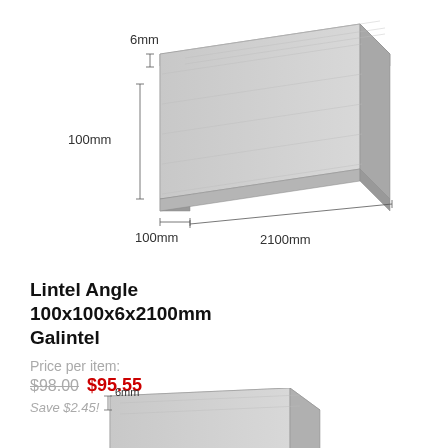[Figure (engineering-diagram): Steel lintel angle product photo with dimension labels: 6mm thickness, 100mm height, 100mm width, 2100mm length]
Lintel Angle 100x100x6x2100mm Galintel
Price per item:
$98.00  $95.55
Save $2.45!
[Figure (engineering-diagram): Steel lintel angle product photo (partial, bottom crop) with 6mm dimension label visible]